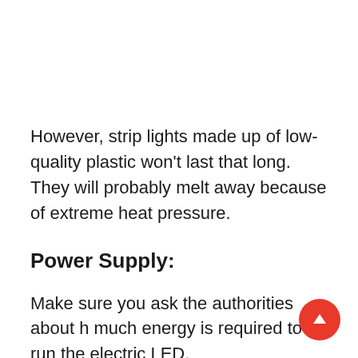However, strip lights made up of low-quality plastic won't last that long. They will probably melt away because of extreme heat pressure.
Power Supply:
Make sure you ask the authorities about how much energy is required to run the electric LED...